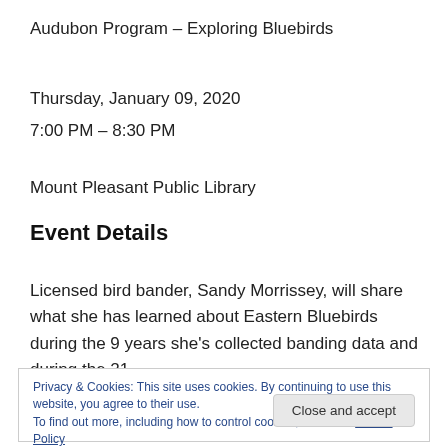Audubon Program – Exploring Bluebirds
Thursday, January 09, 2020
7:00 PM – 8:30 PM
Mount Pleasant Public Library
Event Details
Licensed bird bander, Sandy Morrissey, will share what she has learned about Eastern Bluebirds during the 9 years she's collected banding data and during the 21
Privacy & Cookies: This site uses cookies. By continuing to use this website, you agree to their use.
To find out more, including how to control cookies, see here: Cookie Policy